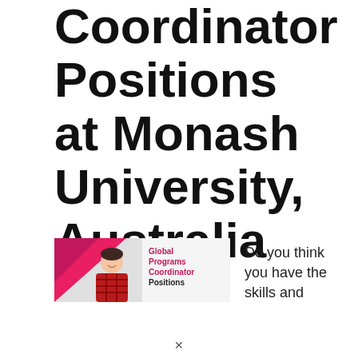Coordinator Positions at Monash University, Australia
[Figure (illustration): Banner image with a smiling young man in a red plaid shirt on a grey background with a pink/red diagonal shape, and bold text reading 'Global Programs Coordinator Positions' in red and black]
Do you think you have the skills and